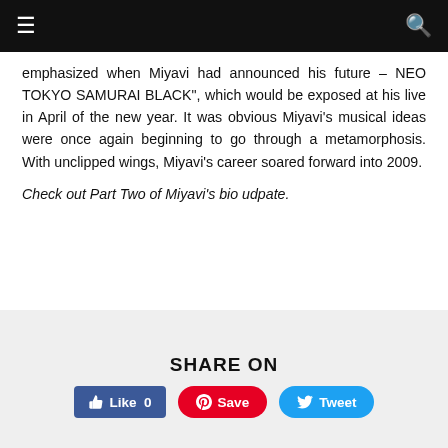≡  🔍
emphasized when Miyavi had announced his future – NEO TOKYO SAMURAI BLACK", which would be exposed at his live in April of the new year. It was obvious Miyavi's musical ideas were once again beginning to go through a metamorphosis. With unclipped wings, Miyavi's career soared forward into 2009.
Check out Part Two of Miyavi's bio udpate.
SHARE ON
[Figure (infographic): Social share buttons: Facebook Like (0), Pinterest Save, Twitter Tweet]
PREVIOUS ARTICLE
BAND BIO: ANTIC CAFE
NEXT ARTICLE